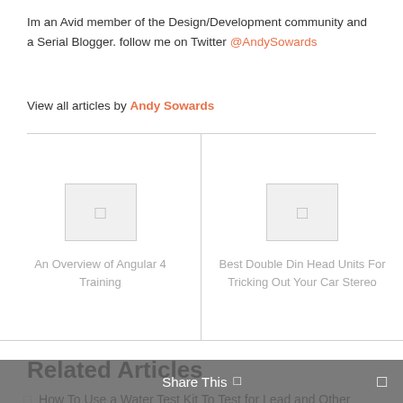Im an Avid member of the Design/Development community and a Serial Blogger. follow me on Twitter @AndySowards
View all articles by Andy Sowards
[Figure (illustration): Left navigation thumbnail: placeholder image box with icon, caption 'An Overview of Angular 4 Training']
[Figure (illustration): Right navigation thumbnail: placeholder image box with icon, caption 'Best Double Din Head Units For Tricking Out Your Car Stereo']
Related Articles
How To Use a Water Test Kit To Test for Lead and Other Contaminants - AUGUST 30, 2022
Share This